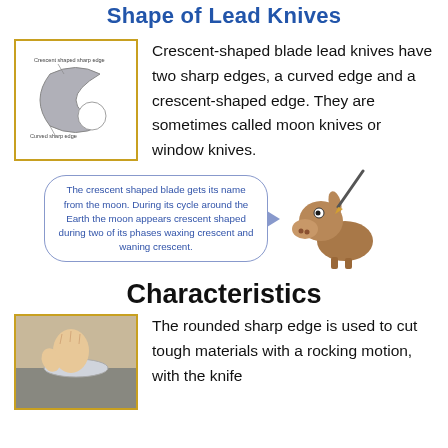Shape of Lead Knives
[Figure (illustration): Crescent-shaped blade illustration with labels: 'Crescent shaped sharp edge' and 'Curved sharp edge', shown in a gold-bordered box.]
Crescent-shaped blade lead knives have two sharp edges, a curved edge and a crescent-shaped edge. They are sometimes called moon knives or window knives.
[Figure (illustration): Speech bubble with text: 'The crescent shaped blade gets its name from the moon. During its cycle around the Earth the moon appears crescent shaped during two of its phases waxing crescent and waning crescent.' Adjacent to a cartoon donkey illustration.]
Characteristics
[Figure (photo): Photo of a hand holding a crescent-shaped knife blade against a surface, shown in a gold-bordered box.]
The rounded sharp edge is used to cut tough materials with a rocking motion, with the knife